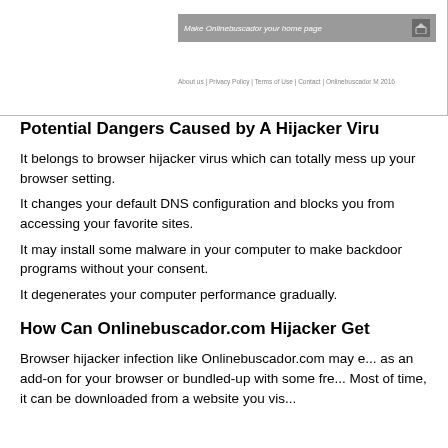[Figure (screenshot): Browser homepage bar showing 'Make Onlinebuscador your home page' with a house icon button, and footer links: About us | Privacy Policy | Terms of Use | Contact | Onlinebuscador M 2016]
Potential Dangers Caused by A Hijacker Viru...
It belongs to browser hijacker virus which can totally mess up your browser setting.
It changes your default DNS configuration and blocks you accessing your favorite sites.
It may install some malware in your computer to make backdoor programs without your consent.
It degenerates your computer performance gradually.
How Can Onlinebuscador.com Hijacker Get...
Browser hijacker infection like Onlinebuscador.com may enter your computer as an add-on for your browser or bundled-up with some fre...
Most of time, it can be downloaded from a website you vis...